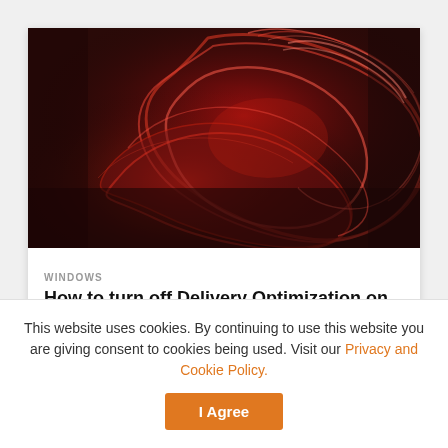[Figure (illustration): Abstract red swirling ribbon shapes on a dark brown/black background, resembling the Windows 11 logo motif]
WINDOWS
How to turn off Delivery Optimization on Windows 11
This website uses cookies. By continuing to use this website you are giving consent to cookies being used. Visit our Privacy and Cookie Policy.
I Agree